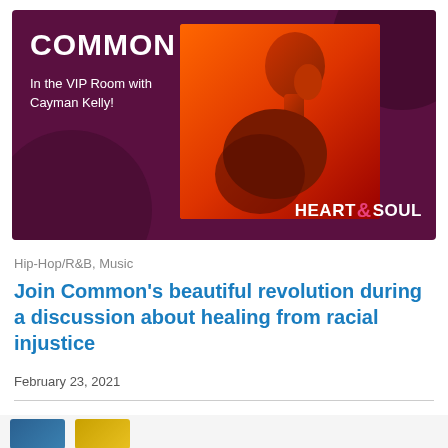[Figure (illustration): Promotional banner for 'Common in the VIP Room with Cayman Kelly' on Heart & Soul. Dark purple/maroon background with bold white 'COMMON' text on the left, subtitle text 'In the VIP Room with Cayman Kelly!', a large photo of a bald man photographed from the side in dramatic orange-red lighting, and the Heart & Soul logo in the bottom right.]
Hip-Hop/R&B, Music
Join Common's beautiful revolution during a discussion about healing from racial injustice
February 23, 2021